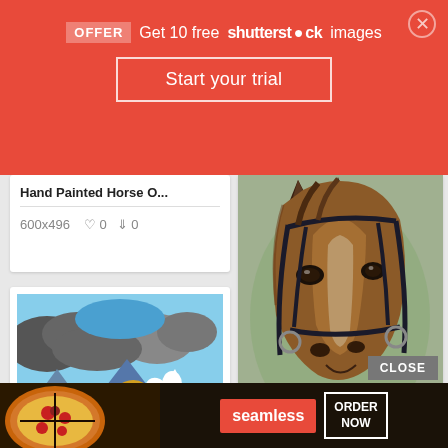[Figure (screenshot): Shutterstock promotional banner: red background with 'OFFER Get 10 free shutterstock images' text and 'Start your trial' button]
Hand Painted Horse O...
600x496   ♥ 0   ⬇ 0
[Figure (illustration): Painting of a white horse galloping across a green field under a dramatic sky]
Horse Paintings On C...
300x230   ♥ 0   ⬇ 0
[Figure (photo): Close-up portrait painting of a brown horse wearing a bridle, horse oil on canvas]
Horse Oil On Canvas ...
712x900   ♥ 0   ⬇ 0
[Figure (screenshot): Seamless food delivery advertisement banner showing pizza and 'ORDER NOW' button]